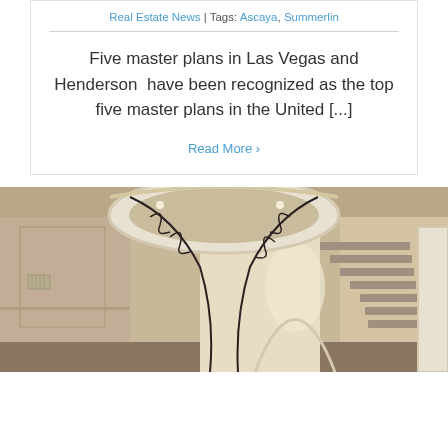Real Estate News | Tags: Ascaya, Summerlin
Five master plans in Las Vegas and Henderson  have been recognized as the top five master plans in the United [...]
Read More >
[Figure (photo): Interior photo of a luxury home showing a grand curved staircase with ornate iron railings, hardwood steps, and a bright hallway with arched window in background]